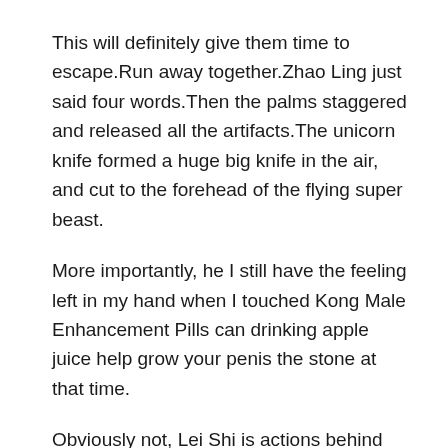This will definitely give them time to escape.Run away together.Zhao Ling just said four words.Then the palms staggered and released all the artifacts.The unicorn knife formed a huge big knife in the air, and cut to the forehead of the flying super beast.
More importantly, he I still have the feeling left in my hand when I touched Kong Male Enhancement Pills can drinking apple juice help grow your penis the stone at that time.
Obviously not, Lei Shi is actions behind him have already disappointed him a little bit.He has endured this breath from the morning to now, and he feels that he has become very red male enhancement pills review scary.This is Zhao Ling is initiative to come .
1.How To Eat Garlic And